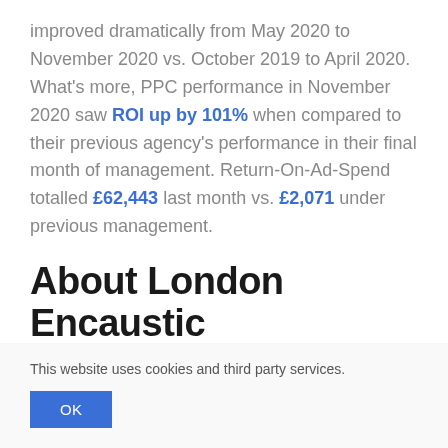improved dramatically from May 2020 to November 2020 vs. October 2019 to April 2020. What's more, PPC performance in November 2020 saw ROI up by 101% when compared to their previous agency's performance in their final month of management. Return-On-Ad-Spend totalled £62,443 last month vs. £2,071 under previous management.
About London Encaustic
This website uses cookies and third party services.